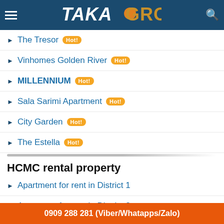TAKA GROUP
The Tresor Hot!
Vinhomes Golden River Hot!
MILLENNIUM Hot!
Sala Sarimi Apartment Hot!
City Garden Hot!
The Estella Hot!
HCMC rental property
Apartment for rent in District 1
Apartment for rent in District 2
Apartment for rent in District 3
Apartment for rent in District...
0909 288 281 (Viber/Whatapps/Zalo)